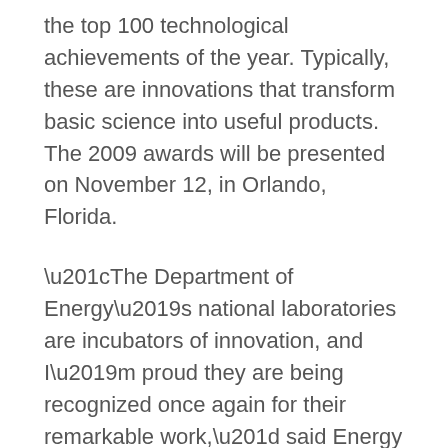the top 100 technological achievements of the year. Typically, these are innovations that transform basic science into useful products. The 2009 awards will be presented on November 12, in Orlando, Florida.
“The Department of Energy’s national laboratories are incubators of innovation, and I’m proud they are being recognized once again for their remarkable work,” said Energy Secretary Steven Chu. “The cutting-edge research and development being done in our national labs is vital to maintaining America’s competitive edge, increasing our nation’s energy security, and